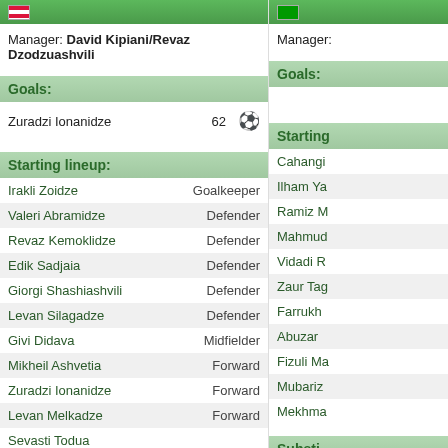Team header (Georgia side)
Manager: David Kipiani/Revaz Dzodzuashvili
Goals:
Zuradzi Ionanidze 62
Starting lineup:
Irakli Zoidze - Goalkeeper
Valeri Abramidze - Defender
Revaz Kemoklidze - Defender
Edik Sadjaia - Defender
Giorgi Shashiashvili - Defender
Levan Silagadze - Defender
Givi Didava - Midfielder
Mikheil Ashvetia - Forward
Zuradzi Ionanidze - Forward
Levan Melkadze - Forward
Sevasti Todua
Substitutions:
Mikheil Makhviladze for Edik Sadjaia 46
Right team header
Manager: (truncated)
Goals:
Starting (truncated)
Cahangi...
Ilham Ya...
Ramiz M...
Mahmud...
Vidadi R...
Zaur Tag...
Farrukh...
Abuzar...
Fizuli Ma...
Mubariz...
Mekhma...
Substi... (truncated)
Aslan... 46